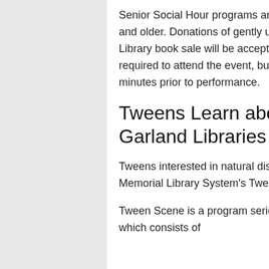Senior Social Hour programs are free and open to anyone 55 years of age and older. Donations of gently used books and media for the Friends of the Library book sale will be accepted during the program. No registration is required to attend the event, but seats do fill up quickly. Doors open 30 minutes prior to performance.
Tweens Learn about Natural Disasters at Garland Libraries
Tweens interested in natural disasters and building will enjoy the Nicholson Memorial Library System's Tween Scene events in November.
Tween Scene is a program series designed for youth ages 10 through 13, which consists of